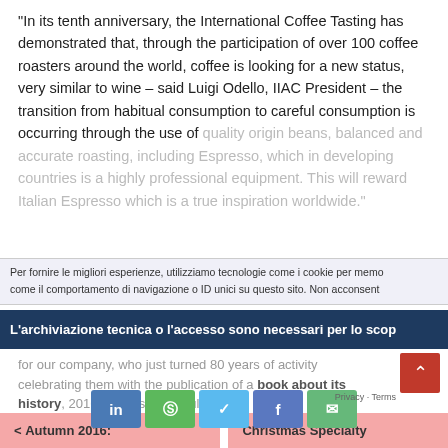"In its tenth anniversary, the International Coffee Tasting has demonstrated that, through the participation of over 100 coffee roasters around the world, coffee is looking for a new status, very similar to wine – said Luigi Odello, IIAC President – the transition from habitual consumption to careful consumption is occurring through the use of quality origin beans, balanced and accurate roasting, including Espresso, which in developing countries is a highly professional equipment. This will reward Italian Espresso which is a true inspiration worldwide."
Per fornire le migliori esperienze, utilizziamo tecnologie come i cookie per memo come il comportamento di navigazione o ID unici su questo sito. Non acconsent
L'archiviazione tecnica o l'accesso sono necessari per lo scop
for our company, who just turned 80 years of activity celebrating them with the publication of a book about its history, 2016 was a successful year!
[Figure (other): Social sharing buttons: LinkedIn (blue), WhatsApp (green), Twitter (light blue), Facebook (blue), Email (green)]
< Autumn 2016:    Christmas Specialty